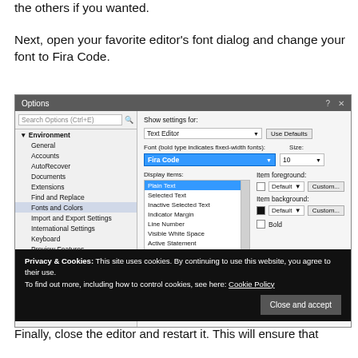the others if you wanted.
Next, open your favorite editor’s font dialog and change your font to Fira Code.
[Figure (screenshot): Visual Studio Code Options dialog showing font settings with Fira Code selected in the font dropdown under Environment > Fonts and Colors. A cookie consent banner overlays the bottom of the screenshot.]
Finally, close the editor and restart it. This will ensure that